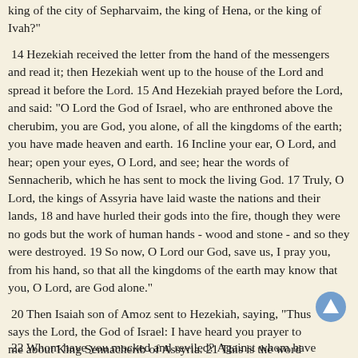king of the city of Sepharvaim, the king of Hena, or the king of Ivah?"
14 Hezekiah received the letter from the hand of the messengers and read it; then Hezekiah went up to the house of the Lord and spread it before the Lord. 15 And Hezekiah prayed before the Lord, and said: "O Lord the God of Israel, who are enthroned above the cherubim, you are God, you alone, of all the kingdoms of the earth; you have made heaven and earth. 16 Incline your ear, O Lord, and hear; open your eyes, O Lord, and see; hear the words of Sennacherib, which he has sent to mock the living God. 17 Truly, O Lord, the kings of Assyria have laid waste the nations and their lands, 18 and have hurled their gods into the fire, though they were no gods but the work of human hands - wood and stone - and so they were destroyed. 19 So now, O Lord our God, save us, I pray you, from his hand, so that all the kingdoms of the earth may know that you, O Lord, are God alone."
20 Then Isaiah son of Amoz sent to Hezekiah, saying, "Thus says the Lord, the God of Israel: I have heard you prayer to me about King Sennacherib of Assyria. 21 This is the word that the Lord has spoken concerning him: She despises you, she scorns you - virgin daughter Zion; she tosses her head - behind your back, daughter Jerusalem.
22 Whom have you mocked and reviled? Against whom have